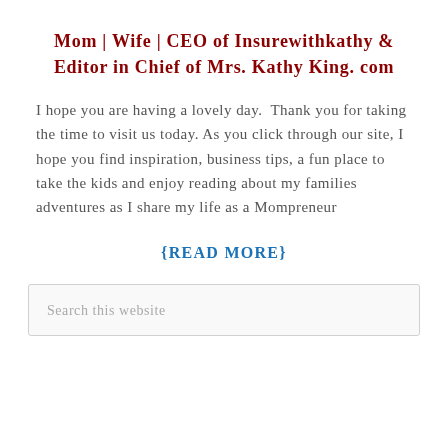Mom | Wife | CEO of Insurewithkathy & Editor in Chief of Mrs. Kathy King. com
I hope you are having a lovely day.  Thank you for taking the time to visit us today. As you click through our site, I hope you find inspiration, business tips, a fun place to take the kids and enjoy reading about my families adventures as I share my life as a Mompreneur
{READ MORE}
Search this website